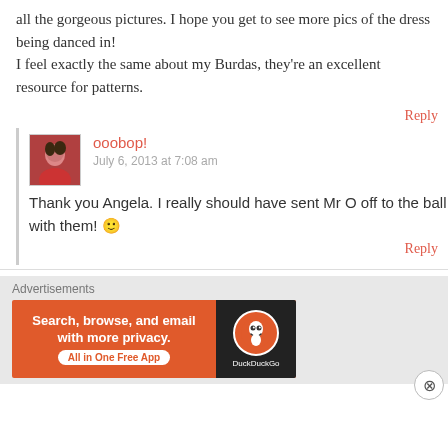all the gorgeous pictures. I hope you get to see more pics of the dress being danced in!
I feel exactly the same about my Burdas, they're an excellent resource for patterns.
Reply
[Figure (photo): Avatar photo of user ooobop, woman with red clothing]
ooobop!
July 6, 2013 at 7:08 am
Thank you Angela. I really should have sent Mr O off to the ball with them! 🙂
Reply
Advertisements
[Figure (screenshot): DuckDuckGo advertisement banner: Search, browse, and email with more privacy. All in One Free App]